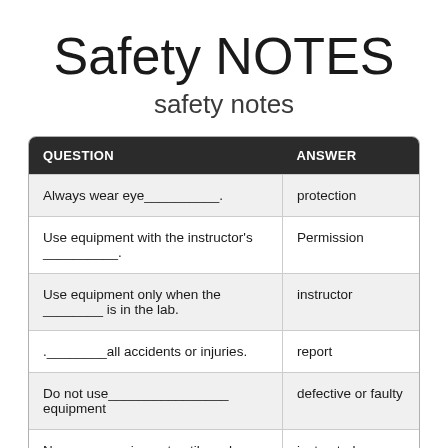Safety NOTES
safety notes
| QUESTION | ANSWER |
| --- | --- |
| Always wear eye__________. | protection |
| Use equipment with the instructor's __________. | Permission |
| Use equipment only when the ________ is in the lab. | instructor |
| .________all accidents or injuries. | report |
| Do not use________________ equipment | defective or faulty |
| Never use equipment until you have been | instructed |